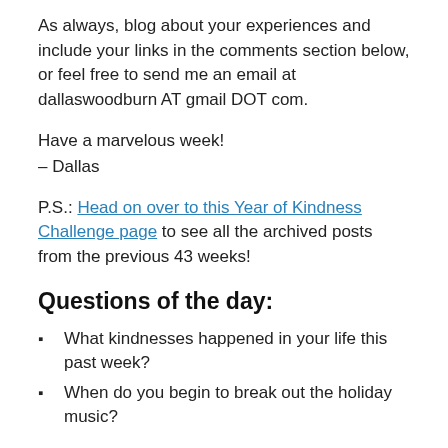As always, blog about your experiences and include your links in the comments section below, or feel free to send me an email at dallaswoodburn AT gmail DOT com.
Have a marvelous week!
– Dallas
P.S.: Head on over to this Year of Kindness Challenge page to see all the archived posts from the previous 43 weeks!
Questions of the day:
What kindnesses happened in your life this past week?
When do you begin to break out the holiday music?